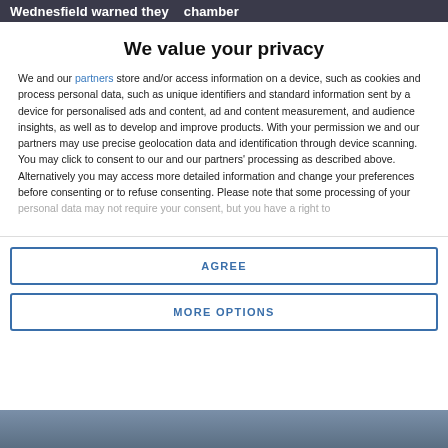Wednesfield warned they   chamber
We value your privacy
We and our partners store and/or access information on a device, such as cookies and process personal data, such as unique identifiers and standard information sent by a device for personalised ads and content, ad and content measurement, and audience insights, as well as to develop and improve products. With your permission we and our partners may use precise geolocation data and identification through device scanning. You may click to consent to our and our partners' processing as described above. Alternatively you may access more detailed information and change your preferences before consenting or to refuse consenting. Please note that some processing of your personal data may not require your consent, but you have a right to
AGREE
MORE OPTIONS